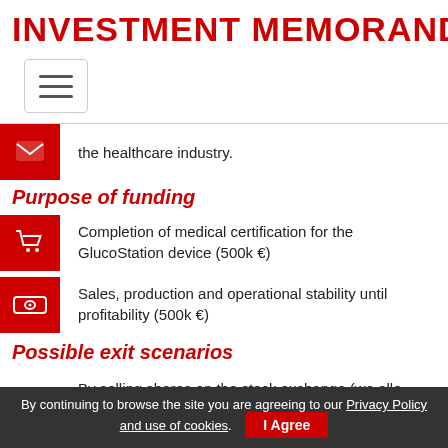INVESTMENT MEMORANDUM
[Figure (other): Hamburger menu icon button]
the healthcare industry.
Purpose of funding
Completion of medical certification for the GlucoStation device (500k €)
Sales, production and operational stability until profitability (500k €)
Possible exit scenarios
By selling shares on the stock exchange (we allo…
By continuing to browse the site you are agreeing to our Privacy Policy and use of cookies.
I Agree